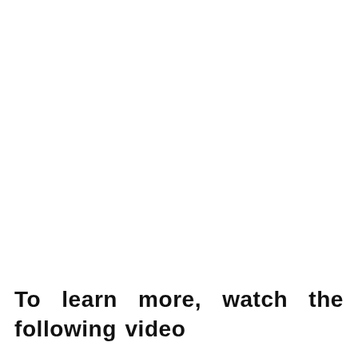To learn more, watch the following video